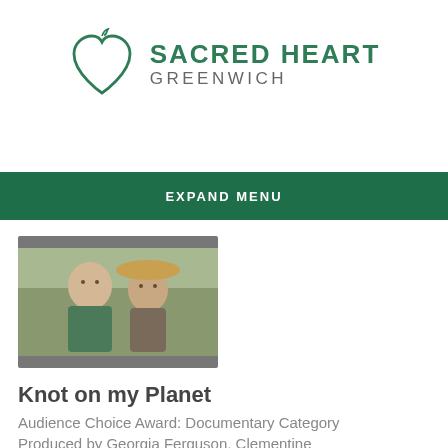[Figure (logo): Sacred Heart Greenwich logo — a heart outline with a small bird/leaf flourish at top, next to the text SACRED HEART GREENWICH]
EXPAND MENU
[Figure (photo): Photo of two people, an older man and a younger woman wearing a hat, standing outdoors]
Knot on my Planet
Audience Choice Award: Documentary Category
Produced by Georgia Ferguson, Clementine